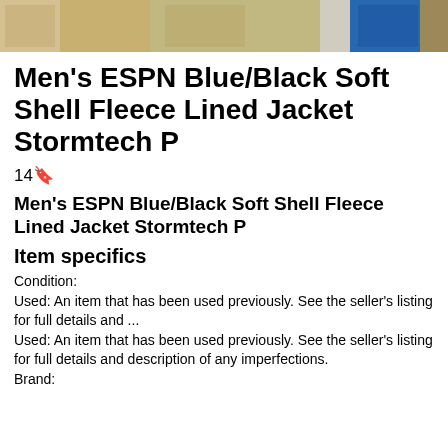[Figure (photo): Strip of product photos showing jackets and clothing items in various colors including tan, blue, and dark tones]
Men's ESPN Blue/Black Soft Shell Fleece Lined Jacket Stormtech P
14🔖
Men's ESPN Blue/Black Soft Shell Fleece Lined Jacket Stormtech P
Item specifics
Condition:
Used: An item that has been used previously. See the seller's listing for full details and ...
Used: An item that has been used previously. See the seller's listing for full details and description of any imperfections.
Brand: